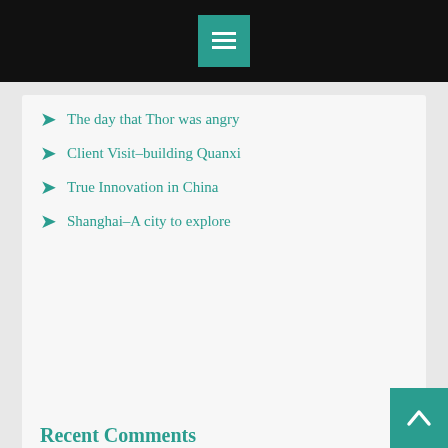[Navigation menu button]
The day that Thor was angry
Client Visit–building Quanxi
True Innovation in China
Shanghai–A city to explore
Recent Comments
Ruben on Client Visit–building Quanxi
masal oku on Client Visit–building Quanxi
masallar on Client Visit–building Quanxi
sultanbeyli on Client Visit–building Quanxi
cbdoilkansascity.com on Client Visit–building